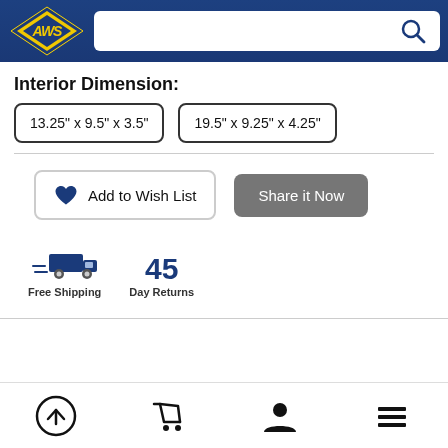[Figure (logo): AWS logo with yellow lightning bolt diamond shape on dark blue/navy background header]
Interior Dimension:
13.25" x 9.5" x 3.5"
19.5" x 9.25" x 4.25"
Add to Wish List
Share it Now
[Figure (illustration): Truck with motion lines icon representing Free Shipping]
Free Shipping
45
Day Returns
[Figure (illustration): Bottom navigation bar with scroll-to-top (circle arrow up), shopping cart, user profile, and hamburger menu icons]